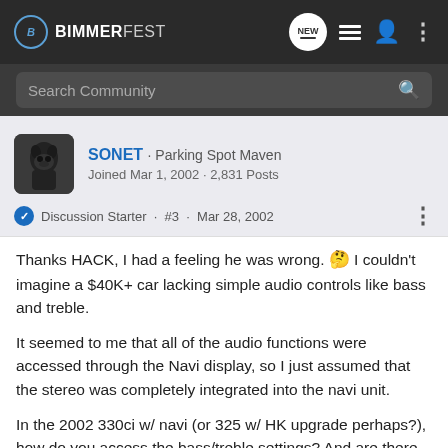BIMMERFEST - header navigation bar with logo, NEW, list, profile, and menu icons
Search Community
SONET · Parking Spot Maven
Joined Mar 1, 2002 · 2,831 Posts
Discussion Starter · #3 · Mar 28, 2002
Thanks HACK, I had a feeling he was wrong. 🤔 I couldn't imagine a $40K+ car lacking simple audio controls like bass and treble.
It seemed to me that all of the audio functions were accessed through the Navi display, so I just assumed that the stereo was completely integrated into the navi unit.
In the 2002 330ci w/ navi (or 325 w/ HK upgrade perhaps?), how do you access the bass/treble settings? And are there any